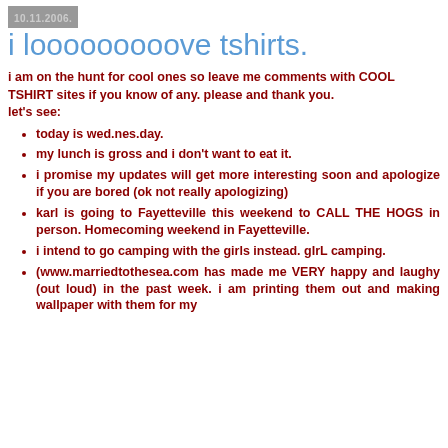10.11.2006.
i looooooooove tshirts.
i am on the hunt for cool ones so leave me comments with COOL TSHIRT sites if you know of any. please and thank you.
let's see:
today is wed.nes.day.
my lunch is gross and i don't want to eat it.
i promise my updates will get more interesting soon and apologize if you are bored (ok not really apologizing)
karl is going to Fayetteville this weekend to CALL THE HOGS in person. Homecoming weekend in Fayetteville.
i intend to go camping with the girls instead. gIrL camping.
(www.marriedtothesea.com has made me VERY happy and laughy (out loud) in the past week. i am printing them out and making wallpaper with them for my